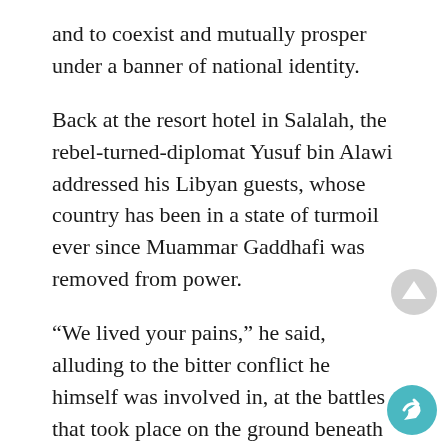and to coexist and mutually prosper under a banner of national identity.
Back at the resort hotel in Salalah, the rebel-turned-diplomat Yusuf bin Alawi addressed his Libyan guests, whose country has been in a state of turmoil ever since Muammar Gaddhafi was removed from power.
“We lived your pains,” he said, alluding to the bitter conflict he himself was involved in, at the battles that took place on the ground beneath his feet, “and I hope you will emerge as a unified country. You have [the] capacity, you